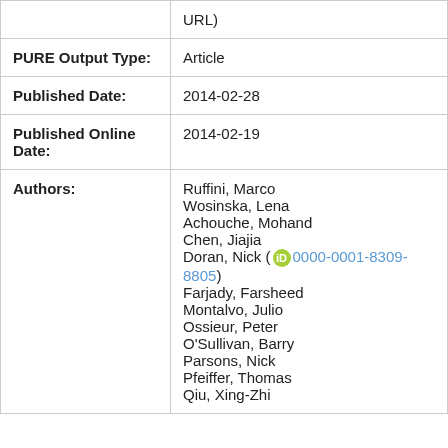|  | URL) |
| PURE Output Type: | Article |
| Published Date: | 2014-02-28 |
| Published Online Date: | 2014-02-19 |
| Authors: | Ruffini, Marco
Wosinska, Lena
Achouche, Mohand
Chen, Jiajia
Doran, Nick (0000-0001-8309-8805)
Farjady, Farsheed
Montalvo, Julio
Ossieur, Peter
O'Sullivan, Barry
Parsons, Nick
Pfeiffer, Thomas
Qiu, Xing-Zhi |